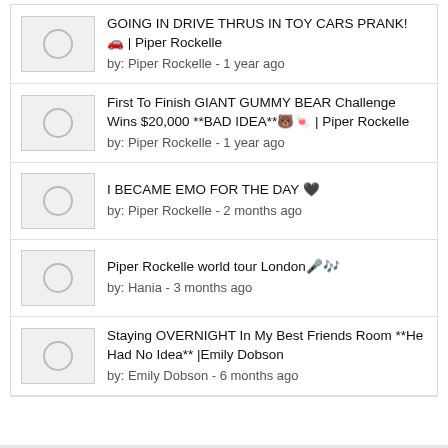GOING IN DRIVE THRUS IN TOY CARS PRANK! 🚗 | Piper Rockelle
by: Piper Rockelle - 1 year ago
First To Finish GIANT GUMMY BEAR Challenge Wins $20,000 **BAD IDEA**🐻🍬 | Piper Rockelle
by: Piper Rockelle - 1 year ago
I BECAME EMO FOR THE DAY 🖤
by: Piper Rockelle - 2 months ago
Piper Rockelle world tour London🎤🎶
by: Hania - 3 months ago
Staying OVERNIGHT In My Best Friends Room **He Had No Idea** |Emily Dobson
by: Emily Dobson - 6 months ago
© Copyright 2022 • Codedfilm • All Rights Reserved